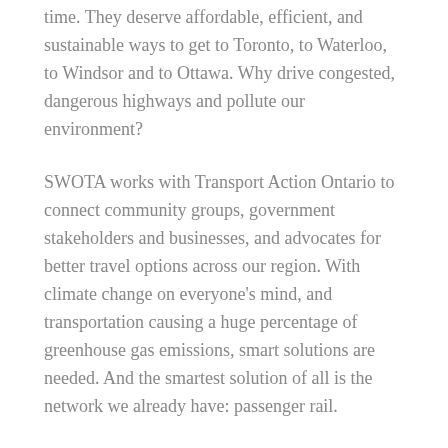time. They deserve affordable, efficient, and sustainable ways to get to Toronto, to Waterloo, to Windsor and to Ottawa. Why drive congested, dangerous highways and pollute our environment?
SWOTA works with Transport Action Ontario to connect community groups, government stakeholders and businesses, and advocates for better travel options across our region. With climate change on everyone's mind, and transportation causing a huge percentage of greenhouse gas emissions, smart solutions are needed. And the smartest solution of all is the network we already have: passenger rail.
The event will focus on High-Speed Rail options, the huge expansion of GO Transit in